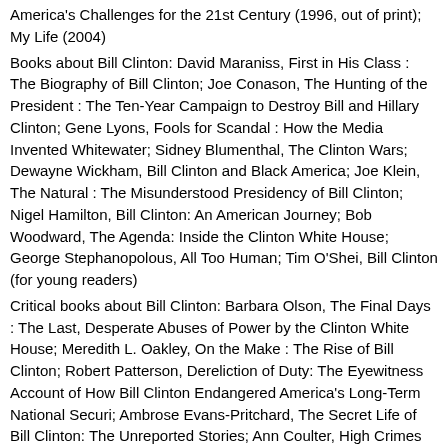America's Challenges for the 21st Century (1996, out of print); My Life (2004)
Books about Bill Clinton: David Maraniss, First in His Class : The Biography of Bill Clinton; Joe Conason, The Hunting of the President : The Ten-Year Campaign to Destroy Bill and Hillary Clinton; Gene Lyons, Fools for Scandal : How the Media Invented Whitewater; Sidney Blumenthal, The Clinton Wars; Dewayne Wickham, Bill Clinton and Black America; Joe Klein, The Natural : The Misunderstood Presidency of Bill Clinton; Nigel Hamilton, Bill Clinton: An American Journey; Bob Woodward, The Agenda: Inside the Clinton White House; George Stephanopolous, All Too Human; Tim O'Shei, Bill Clinton (for young readers)
Critical books about Bill Clinton: Barbara Olson, The Final Days : The Last, Desperate Abuses of Power by the Clinton White House; Meredith L. Oakley, On the Make : The Rise of Bill Clinton; Robert Patterson, Dereliction of Duty: The Eyewitness Account of How Bill Clinton Endangered America's Long-Term National Securi; Ambrose Evans-Pritchard, The Secret Life of Bill Clinton: The Unreported Stories; Ann Coulter, High Crimes and Misdemeanors: The Case Against Bill Clinton; Dick Morris and Eileen McGann, Because He Could; Jack Cashill, Ron Brown's